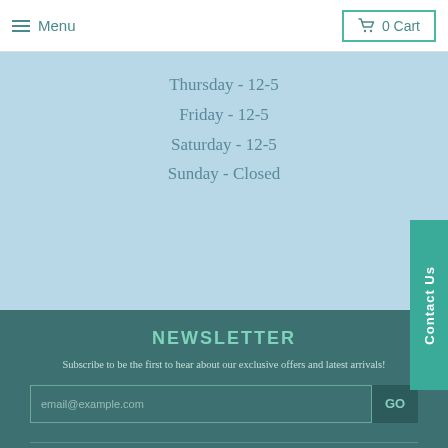Menu | 0 Cart
Thursday - 12-5
Friday - 12-5
Saturday - 12-5
Sunday - Closed
Contact Us
NEWSLETTER
Subscribe to be the first to hear about our exclusive offers and latest arrivals!
email@example.com | GO